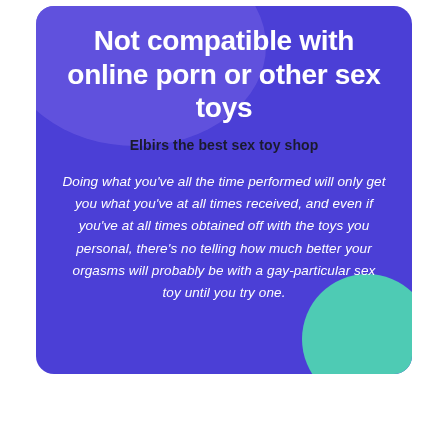Not compatible with online porn or other sex toys
Elbirs the best sex toy shop
Doing what you've all the time performed will only get you what you've at all times received, and even if you've at all times obtained off with the toys you personal, there's no telling how much better your orgasms will probably be with a gay-particular sex toy until you try one.